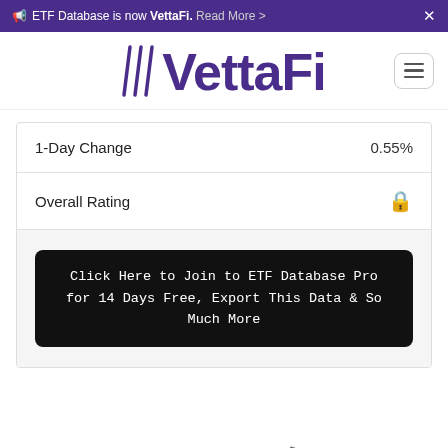ETF Database is now VettaFi. Read More >
[Figure (logo): VettaFi logo with stylized V lines and bold purple text]
| Field | Value |
| --- | --- |
| 1-Day Change | 0.55% |
| Overall Rating | 🔒 |
Click Here to Join to ETF Database Pro for 14 Days Free, Export This Data & So Much More
Loading Articles...